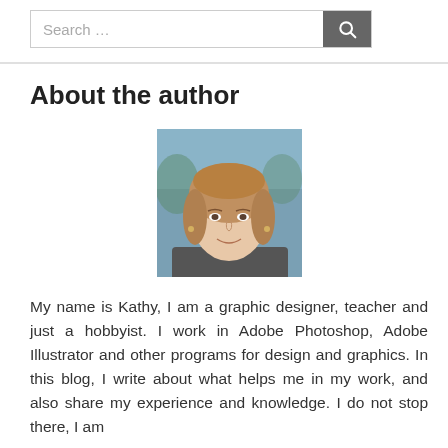Search …
About the author
[Figure (photo): Headshot photo of author Kathy, a woman with light brown/wavy hair, smiling, with a blurred outdoor background.]
My name is Kathy, I am a graphic designer, teacher and just a hobbyist. I work in Adobe Photoshop, Adobe Illustrator and other programs for design and graphics. In this blog, I write about what helps me in my work, and also share my experience and knowledge. I do not stop there, I am